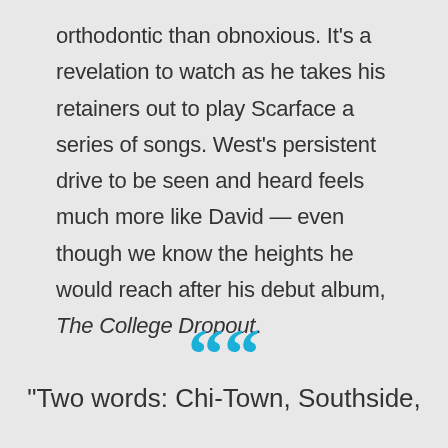orthodontic than obnoxious. It's a revelation to watch as he takes his retainers out to play Scarface a series of songs. West's persistent drive to be seen and heard feels much more like David — even though we know the heights he would reach after his debut album, The College Dropout.
““
"Two words: Chi-Town, Southside,